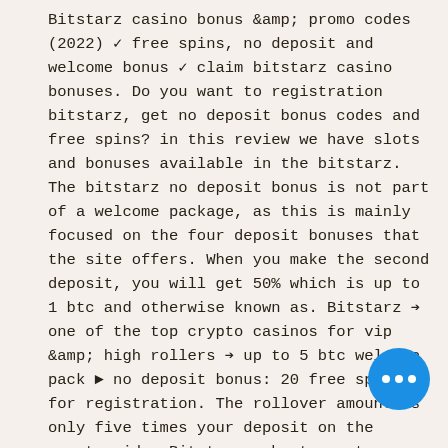Bitstarz casino bonus &amp; promo codes (2022) ✓ free spins, no deposit and welcome bonus ✓ claim bitstarz casino bonuses. Do you want to registration bitstarz, get no deposit bonus codes and free spins? in this review we have slots and bonuses available in the bitstarz. The bitstarz no deposit bonus is not part of a welcome package, as this is mainly focused on the four deposit bonuses that the site offers. When you make the second deposit, you will get 50% which is up to 1 btc and otherwise known as. Bitstarz → one of the top crypto casinos for vip &amp; high rollers → up to 5 btc welcome pack ► no deposit bonus: 20 free spins for registration. The rollover amount is only five times your deposit on the sports side. Bitstarz - best crypto gambling site for slots. Bitstarz offers new players an exclusive bonus of up to 30 free spins with no deposit required when you sign up FREE BITCOINS EVERY HOUR bitstarz.com
[Figure (other): Blue circular chat bubble button with three white dots (ellipsis), positioned in the lower right area of the page]